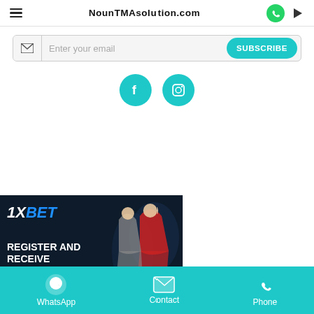NounTMAsolution.com
Enter your email
SUBSCRIBE
[Figure (other): Social media icon buttons: Facebook and Instagram in teal circles]
[Figure (other): 1XBET advertisement banner: Register and receive 100 000 ₦, with soccer players in background]
WhatsApp  Contact  Phone